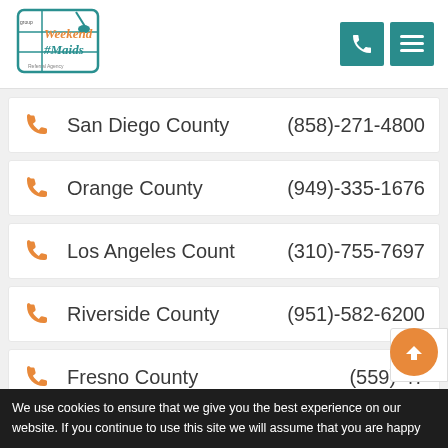[Figure (logo): Weekend Maids logo with cleaning agency text and mop/grid graphic]
San Diego County  (858)-271-4800
Orange County  (949)-335-1676
Los Angeles Count  (310)-755-7697
Riverside County  (951)-582-6200
Fresno County  (559)-47...
We use cookies to ensure that we give you the best experience on our website. If you continue to use this site we will assume that you are happy